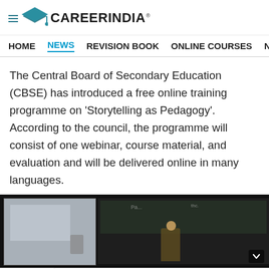CAREERINDIA
HOME  NEWS  REVISION BOOK  ONLINE COURSES  NE
The Central Board of Secondary Education (CBSE) has introduced a free online training programme on 'Storytelling as Pedagogy'. According to the council, the programme will consist of one webinar, course material, and evaluation and will be delivered online in many languages.
[Figure (screenshot): Screenshot of a video player showing a classroom scene with a teacher at a blackboard, alongside a thumbnail panel on the left.]